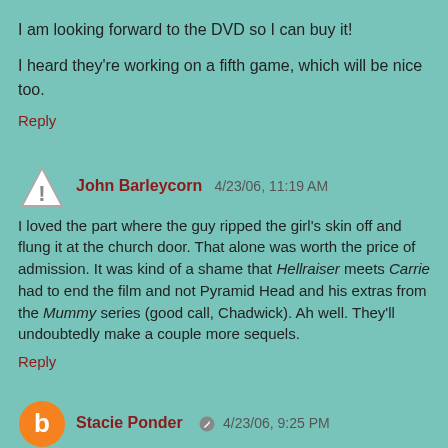I am looking forward to the DVD so I can buy it!

I heard they're working on a fifth game, which will be nice too.
Reply
John Barleycorn  4/23/06, 11:19 AM
I loved the part where the guy ripped the girl's skin off and flung it at the church door. That alone was worth the price of admission. It was kind of a shame that Hellraiser meets Carrie had to end the film and not Pyramid Head and his extras from the Mummy series (good call, Chadwick). Ah well. They'll undoubtedly make a couple more sequels.
Reply
Stacie Ponder  4/23/06, 9:25 PM
Heather: For the most part, the movie's storyline/plot was culled from the first and third games (3 is a true sequel to